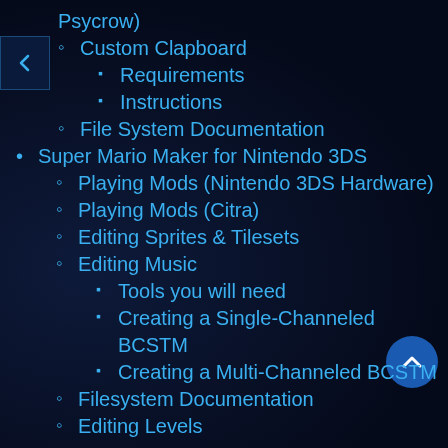Psycrow)
Custom Clapboard
Requirements
Instructions
File System Documentation
Super Mario Maker for Nintendo 3DS
Playing Mods (Nintendo 3DS Hardware)
Playing Mods (Citra)
Editing Sprites & Tilesets
Editing Music
Tools you will need
Creating a Single-Channeled BCSTM
Creating a Multi-Channeled BCSTM
Filesystem Documentation
Editing Levels